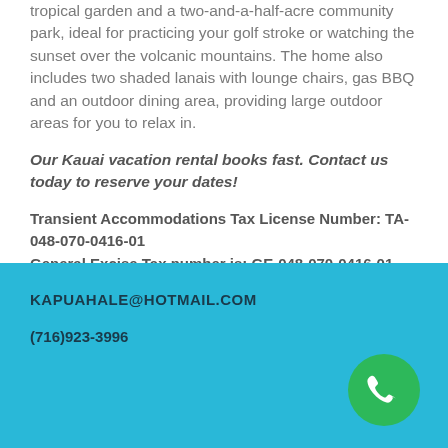tropical garden and a two-and-a-half-acre community park, ideal for practicing your golf stroke or watching the sunset over the volcanic mountains. The home also includes two shaded lanais with lounge chairs, gas BBQ and an outdoor dining area, providing large outdoor areas for you to relax in.
Our Kauai vacation rental books fast. Contact us today to reserve your dates!
Transient Accommodations Tax License Number: TA-048-070-0416-01 General Excise Tax number is: GE-048-070-0416-01
KAPUAHALE@HOTMAIL.COM
(716)923-3996
[Figure (illustration): Green circle phone icon in bottom right corner of teal footer section]